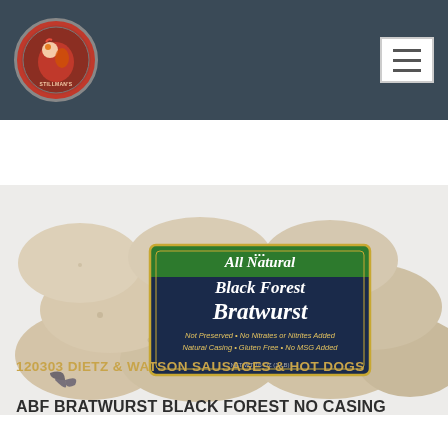Stillman's Meats - Navigation header with logo and hamburger menu
ALL PRODUCTS
BEEF
CHARCUTERIE
MUSCLE MEATS
PORK
POULTRY
SAUSAGE / HOT DOGS / MEATBALLS
SLICED MEATS
[Figure (photo): Package of All Natural Black Forest Bratwurst sausages with dark blue packaging. Text on package: All Natural, Black Forest Bratwurst, Not Preserved - No Nitrates or Nitrites Added, Natural Casing - Gluten Free - No MSG Added]
120303  DIETZ & WATSON SAUSAGES & HOT DOGS
ABF BRATWURST BLACK FOREST NO CASING